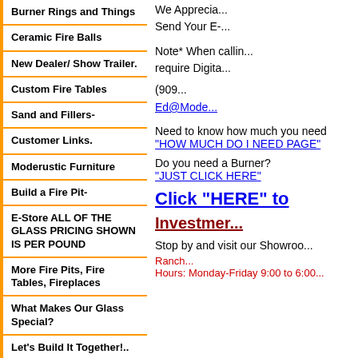Burner Rings and Things
Ceramic Fire Balls
New Dealer/ Show Trailer.
Custom Fire Tables
Sand and Fillers-
Customer Links.
Moderustic Furniture
Build a Fire Pit-
E-Store ALL OF THE GLASS PRICING SHOWN IS PER POUND
More Fire Pits, Fire Tables, Fireplaces
What Makes Our Glass Special?
Let's Build It Together!..
We Apprecia... Send Your E-...
Note* When callin... require Digita...
(909...
Ed@Mode...
Need to know how much you need "HOW MUCH DO I NEED PAGE"
Do you need a Burner? "JUST CLICK HERE"
Click "HERE" to
Investmer...
Stop by and visit our Showroo...
Ranch... Hours: Monday-Friday 9:00 to 6:00...